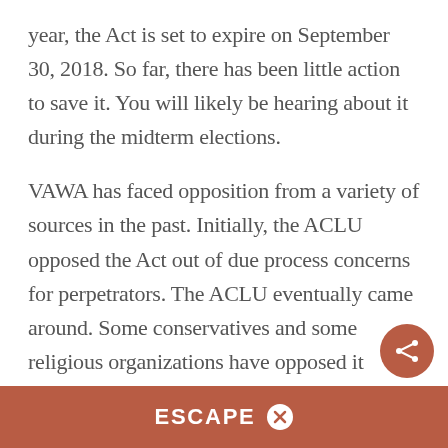year, the Act is set to expire on September 30, 2018. So far, there has been little action to save it. You will likely be hearing about it during the midterm elections.
VAWA has faced opposition from a variety of sources in the past. Initially, the ACLU opposed the Act out of due process concerns for perpetrators. The ACLU eventually came around. Some conservatives and some religious organizations have opposed it because i
ESCAPE